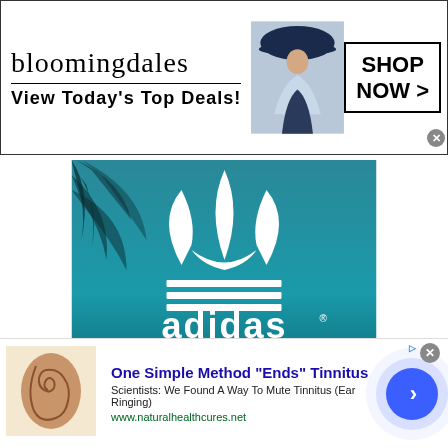[Figure (other): Bloomingdales advertisement banner with logo, 'View Today's Top Deals!' text, model in hat, and 'SHOP NOW >' button]
[Figure (logo): Adidas Originals logo on teal/blue background with palm leaf shadow, white trefoil logo and 'adidas ORIGINALS' text]
[Figure (other): Bottom advertisement for tinnitus remedy: 'One Simple Method "Ends" Tinnitus' with ear image, description text, URL www.naturalhealthcures.net, and blue circle arrow button]